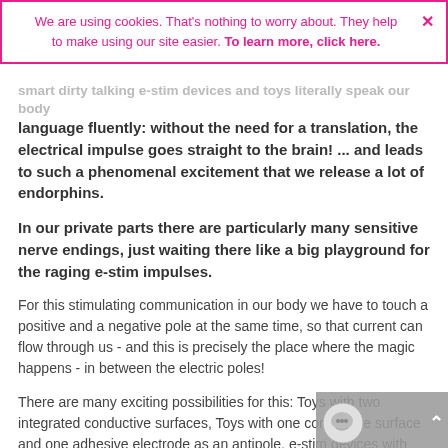[Figure (screenshot): Cookie consent banner with pink border and text: 'We are using cookies. That's nothing to worry about. They help to make using our site easier. To learn more, click here.' with a pink X close button.]
smart dirty talking e-stim devices and toys literally speak our body language fluently: without the need for a translation, the electrical impulse goes straight to the brain! ... and leads to such a phenomenal excitement that we release a lot of endorphins.
In our private parts there are particularly many sensitive nerve endings, just waiting there like a big playground for the raging e-stim impulses.
For this stimulating communication in our body we have to touch a positive and a negative pole at the same time, so that current can flow through us - and this is precisely the place where the magic happens - in between the electric poles!
There are many exciting possibilities for this: Toys with two integrated conductive surfaces, Toys with one conductive surface and one adhesive electrode as an antipole, e-stim devices with two or more electrodes and toys that can be attached exactly in and to erogenous zones, and many more. There are no limits to your imagination - at least not because of